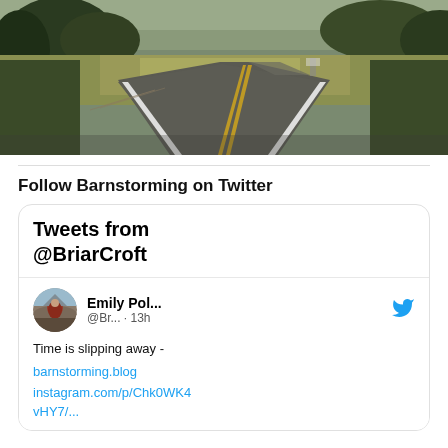[Figure (photo): A rural two-lane road curving into the distance with green fields and trees on either side, double yellow center lines visible on the asphalt.]
Follow Barnstorming on Twitter
[Figure (screenshot): Twitter widget showing 'Tweets from @BriarCroft' with a tweet by Emily Pol... (@Br... · 13h): 'Time is slipping away - barnstorming.blog instagram.com/p/Chk0WK4vHY7/...']